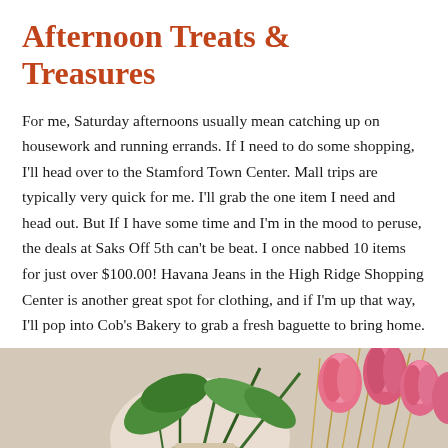Afternoon Treats & Treasures
For me, Saturday afternoons usually mean catching up on housework and running errands. If I need to do some shopping, I'll head over to the Stamford Town Center. Mall trips are typically very quick for me. I'll grab the one item I need and head out. But If I have some time and I'm in the mood to peruse, the deals at Saks Off 5th can't be beat. I once nabbed 10 items for just over $100.00! Havana Jeans in the High Ridge Shopping Center is another great spot for clothing, and if I'm up that way, I'll pop into Cob's Bakery to grab a fresh baguette to bring home.
[Figure (photo): Flower arrangement with pink tulips and green leaves, partially cropped at the bottom of the page]